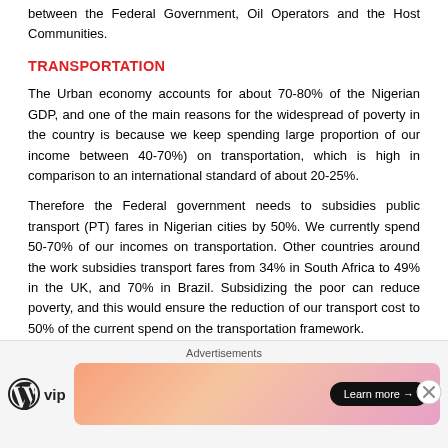between the Federal Government, Oil Operators and the Host Communities.
TRANSPORTATION
The Urban economy accounts for about 70-80% of the Nigerian GDP, and one of the main reasons for the widespread of poverty in the country is because we keep spending large proportion of our income between 40-70%) on transportation, which is high in comparison to an international standard of about 20-25%.
Therefore the Federal government needs to subsidies public transport (PT) fares in Nigerian cities by 50%. We currently spend 50-70% of our incomes on transportation. Other countries around the work subsidies transport fares from 34% in South Africa to 49% in the UK, and 70% in Brazil. Subsidizing the poor can reduce poverty, and this would ensure the reduction of our transport cost to 50% of the current spend on the transportation framework.
[Figure (other): Advertisement banner with WordPress VIP logo and a colorful gradient banner with 'Learn more' button]